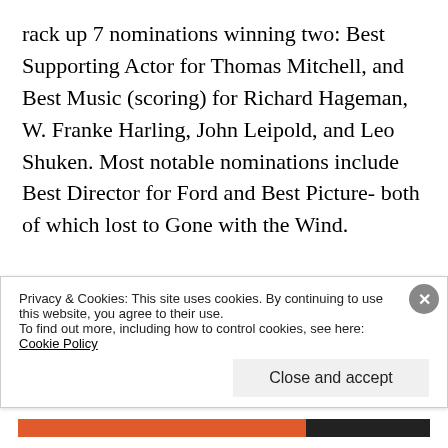rack up 7 nominations winning two: Best Supporting Actor for Thomas Mitchell, and Best Music (scoring) for Richard Hageman, W. Franke Harling, John Leipold, and Leo Shuken. Most notable nominations include Best Director for Ford and Best Picture- both of which lost to Gone with the Wind.

Perhaps the biggest remembrance of Stagecoach was John Wayne becoming a mega star (despite not scoring an Oscar nom.) after working in movies for 13 years. Ford was very willing on reuniting with Duke, as the
Privacy & Cookies: This site uses cookies. By continuing to use this website, you agree to their use.
To find out more, including how to control cookies, see here: Cookie Policy
Close and accept